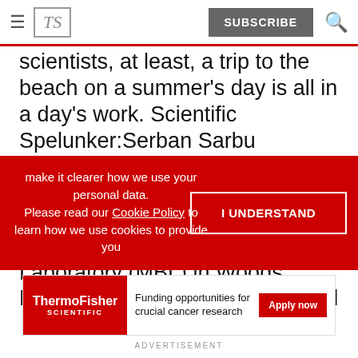TS | SUBSCRIBE
scientists, at least, a trip to the beach on a summer's day is all in a day's work. Scientific Spelunker:Serban Sarbu explores the ecology of isolated systems at the Movile Caves in Romania. Take the researchers at the Marine Biological Laboratory (MBL) in Woods Hole, Mass. Since it was founded
make it clearer how we use your personal data.
Please read our Cookie Policy to learn how we use cookies to provide you
I UNDERSTAND
[Figure (logo): ThermoFisher Scientific logo on red background with text: Funding opportunities for crucial cancer research. Apply now button.]